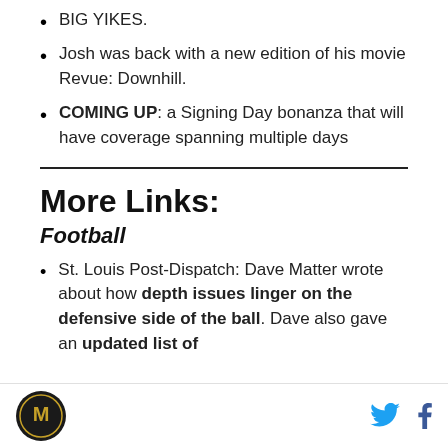BIG YIKES.
Josh was back with a new edition of his movie Revue: Downhill.
COMING UP: a Signing Day bonanza that will have coverage spanning multiple days
More Links:
Football
St. Louis Post-Dispatch: Dave Matter wrote about how depth issues linger on the defensive side of the ball. Dave also gave an updated list of